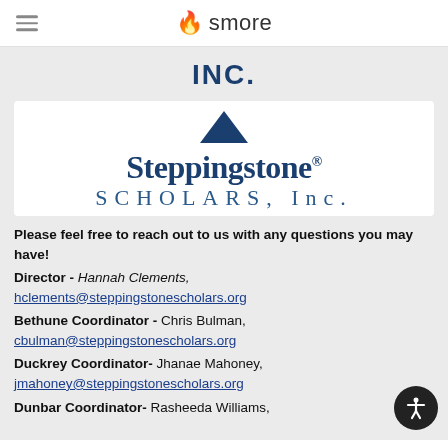smore
INC.
[Figure (logo): Steppingstone Scholars, Inc. logo with a blue triangle above the word 'Steppingstone' in large serif text and 'SCHOLARS, Inc.' in spaced serif text below]
Please feel free to reach out to us with any questions you may have!
Director - Hannah Clements, hclements@steppingstonescholars.org
Bethune Coordinator - Chris Bulman, cbulman@steppingstonescholars.org
Duckrey Coordinator- Jhanae Mahoney, jmahoney@steppingstonescholars.org
Dunbar Coordinator- Rasheeda Williams,